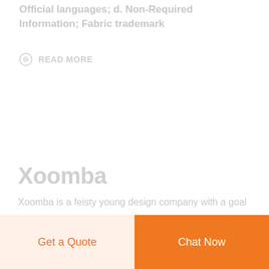Official languages; d. Non-Required Information; Fabric trademark
READ MORE
Xoomba
Xoomba is a feisty young design company with a goal
Get a Quote
Chat Now